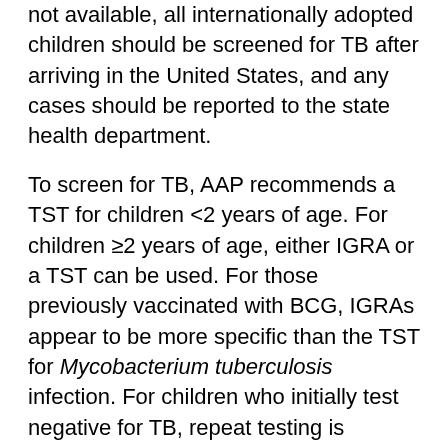not available, all internationally adopted children should be screened for TB after arriving in the United States, and any cases should be reported to the state health department.
To screen for TB, AAP recommends a TST for children <2 years of age. For children ≥2 years of age, either IGRA or a TST can be used. For those previously vaccinated with BCG, IGRAs appear to be more specific than the TST for Mycobacterium tuberculosis infection. For children who initially test negative for TB, repeat testing is recommended 3–6 months after arrival.
If the TST or IGRA is positive for TB, the child has TB infection and an additional evaluation needs to be done to determine if the child has